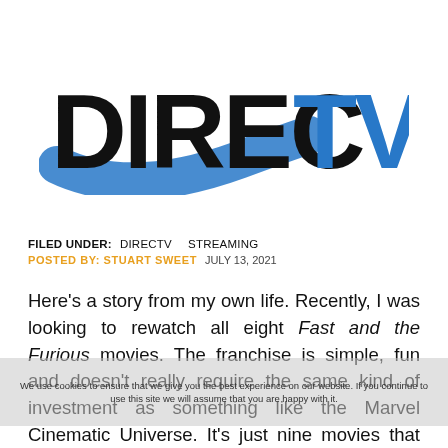[Figure (logo): DIRECTV logo — 'DIREC' in black bold sans-serif, 'TV' in blue bold sans-serif, with a blue curved swoosh shape behind 'DIREC']
FILED UNDER:   DIRECTV   STREAMING
POSTED BY: STUART SWEET   JULY 13, 2021
Here's a story from my own life. Recently, I was looking to rewatch all eight Fast and the Furious movies. The franchise is simple, fun and doesn't really require the same kind of investment as something like the Marvel Cinematic Universe. It's just nine movies that kind of tie together. I've
We use cookies to ensure that we give you the best experience on our website. If you continue to use this site we will assume that you are happy with it.